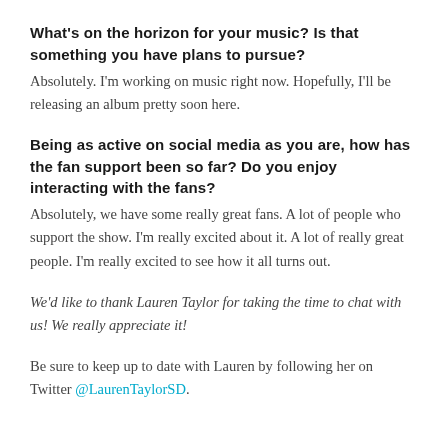What's on the horizon for your music? Is that something you have plans to pursue?
Absolutely. I'm working on music right now. Hopefully, I'll be releasing an album pretty soon here.
Being as active on social media as you are, how has the fan support been so far? Do you enjoy interacting with the fans?
Absolutely, we have some really great fans. A lot of people who support the show. I'm really excited about it. A lot of really great people. I'm really excited to see how it all turns out.
We'd like to thank Lauren Taylor for taking the time to chat with us! We really appreciate it!
Be sure to keep up to date with Lauren by following her on Twitter @LaurenTaylorSD.